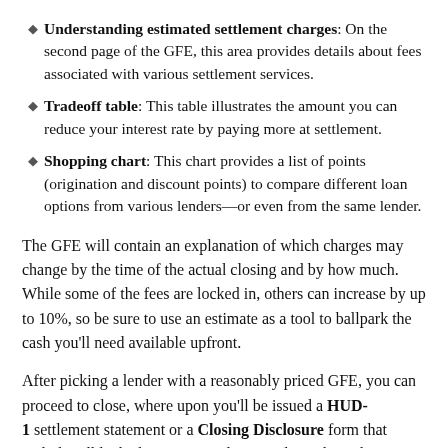Understanding estimated settlement charges: On the second page of the GFE, this area provides details about fees associated with various settlement services.
Tradeoff table: This table illustrates the amount you can reduce your interest rate by paying more at settlement.
Shopping chart: This chart provides a list of points (origination and discount points) to compare different loan options from various lenders—or even from the same lender.
The GFE will contain an explanation of which charges may change by the time of the actual closing and by how much. While some of the fees are locked in, others can increase by up to 10%, so be sure to use an estimate as a tool to ballpark the cash you'll need available upfront.
After picking a lender with a reasonably priced GFE, you can proceed to close, where upon you'll be issued a HUD-1 settlement statement or a Closing Disclosure form that includes all locked-in costs. By law, you have the right to receive